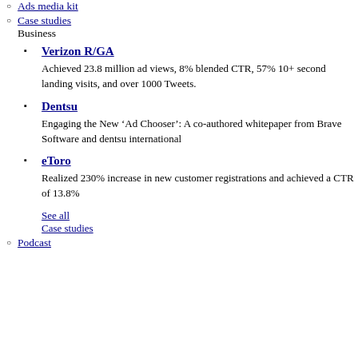Ads media kit
Case studies
Business
Verizon R/GA
Achieved 23.8 million ad views, 8% blended CTR, 57% 10+ second landing visits, and over 1000 Tweets.
Dentsu
Engaging the New ‘Ad Chooser’: A co-authored whitepaper from Brave Software and dentsu international
eToro
Realized 230% increase in new customer registrations and achieved a CTR of 13.8%
See all Case studies
Podcast